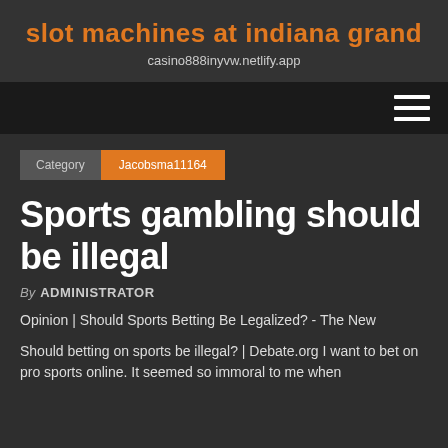slot machines at indiana grand
casino888inyvw.netlify.app
[Figure (other): Navigation bar with hamburger menu icon (three horizontal lines) on the right side, dark background]
Category   Jacobsma11164
Sports gambling should be illegal
By ADMINISTRATOR
Opinion | Should Sports Betting Be Legalized? - The New
Should betting on sports be illegal? | Debate.org I want to bet on pro sports online. It seemed so immoral to me when